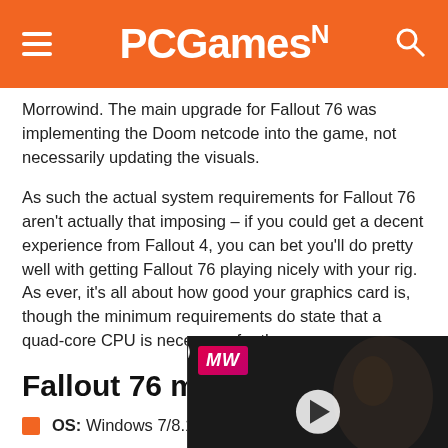PCGamesN
Morrowind. The main upgrade for Fallout 76 was implementing the Doom netcode into the game, not necessarily updating the visuals.
As such the actual system requirements for Fallout 76 aren't actually that imposing – if you could get a decent experience from Fallout 4, you can bet you'll do pretty well with getting Fallout 76 playing nicely with your rig. As ever, it's all about how good your graphics card is, though the minimum requirements do state that a quad-core CPU is necessary for the game.
Fallout 76 minimum s…
OS: Windows 7/8.1/10 (64-bit…
[Figure (screenshot): Video ad overlay for Multiwinia showing 'EMBRACER GROUP BUY LOTR RIGHTS' with a play button and dark background with a face silhouette]